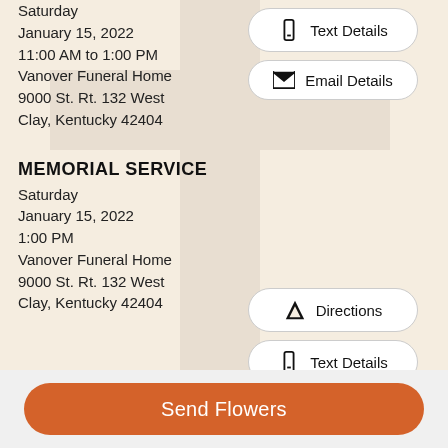Saturday
January 15, 2022
11:00 AM to 1:00 PM
Vanover Funeral Home
9000 St. Rt. 132 West
Clay, Kentucky 42404
MEMORIAL SERVICE
Saturday
January 15, 2022
1:00 PM
Vanover Funeral Home
9000 St. Rt. 132 West
Clay, Kentucky 42404
Text Details
Email Details
Directions
Text Details
Email Details
Send Flowers